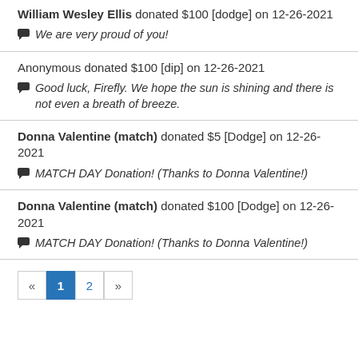William Wesley Ellis donated $100 [dodge] on 12-26-2021
We are very proud of you!
Anonymous donated $100 [dip] on 12-26-2021
Good luck, Firefly. We hope the sun is shining and there is not even a breath of breeze.
Donna Valentine (match) donated $5 [Dodge] on 12-26-2021
MATCH DAY Donation! (Thanks to Donna Valentine!)
Donna Valentine (match) donated $100 [Dodge] on 12-26-2021
MATCH DAY Donation! (Thanks to Donna Valentine!)